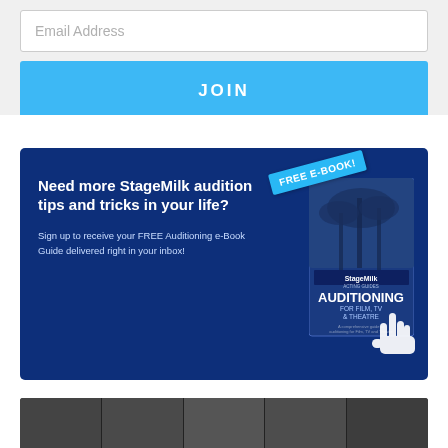Email Address
JOIN
[Figure (infographic): StageMilk promotion banner on dark blue background. Left side shows bold white text: 'Need more StageMilk audition tips and tricks in your life?' with subtitle 'Sign up to receive your FREE Auditioning e-Book Guide delivered right in your inbox!'. Right side shows a book cover for 'StageMilk Auditioning for Film, TV & Theatre' with a 'FREE E-BOOK!' ribbon label and a pointing hand cursor icon.]
[Figure (photo): Black and white photo strip showing multiple people's faces/headshots at the bottom of the page.]